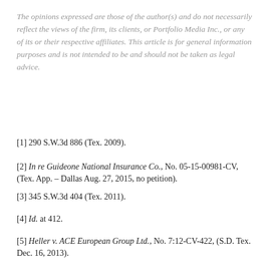The opinions expressed are those of the author(s) and do not necessarily reflect the views of the firm, its clients, or Portfolio Media Inc., or any of its or their respective affiliates. This article is for general information purposes and is not intended to be and should not be taken as legal advice.
[1] 290 S.W.3d 886 (Tex. 2009).
[2] In re Guideone National Insurance Co., No. 05-15-00981-CV, (Tex. App. – Dallas Aug. 27, 2015, no petition).
[3] 345 S.W.3d 404 (Tex. 2011).
[4] Id. at 412.
[5] Heller v. ACE European Group Ltd., No. 7:12-CV-422, (S.D. Tex. Dec. 16, 2013).